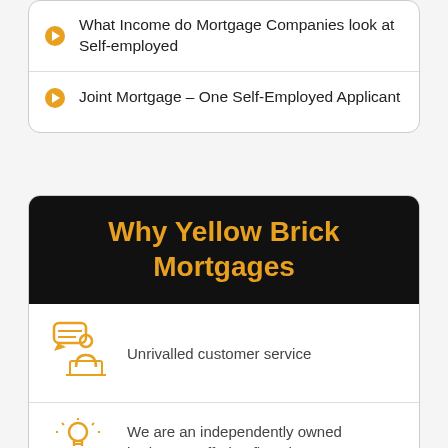What Income do Mortgage Companies look at Self-employed
Joint Mortgage – One Self-Employed Applicant
Why Yellow Brick Mortgages
Unrivalled customer service
We are an independently owned brokerage offering first charge mortgages from the whole of the market.
Available 24/7 to ensure